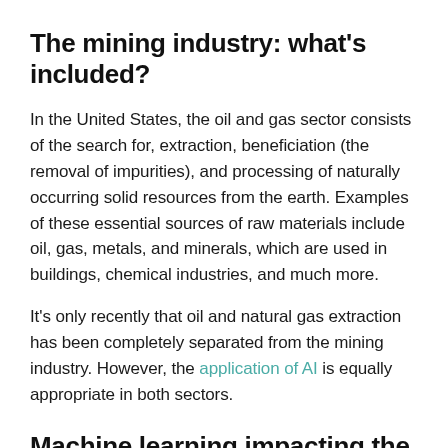The mining industry: what's included?
In the United States, the oil and gas sector consists of the search for, extraction, beneficiation (the removal of impurities), and processing of naturally occurring solid resources from the earth. Examples of these essential sources of raw materials include oil, gas, metals, and minerals, which are used in buildings, chemical industries, and much more.
It's only recently that oil and natural gas extraction has been completely separated from the mining industry. However, the application of AI is equally appropriate in both sectors.
Machine learning impacting the oil,